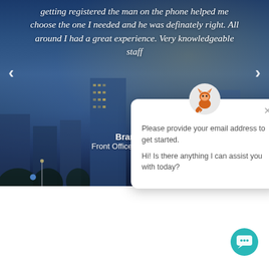[Figure (screenshot): Screenshot of a website testimonial slider with a city skyline background at night. Shows a quote from Brandy P, Front Office Receptionist, overlaid on a dark blue city night scene. A chatbot popup appears in the lower right showing messages about providing email address and offering assistance.]
getting registered the man on the phone helped me choose the one I needed and he was definately right. All around I had a great experience. Very knowledgeable staff
Brandy P
Front Office Receptionist
Please provide your email address to get started. Hi! Is there anything I can assist you with today?